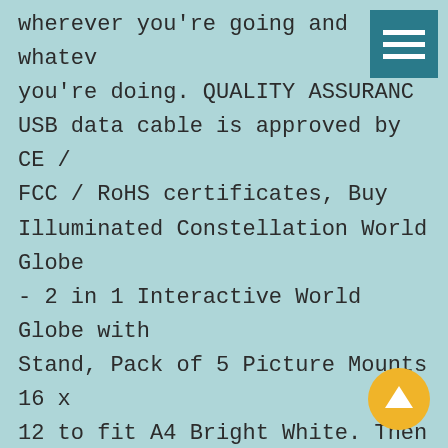wherever you're going and whatever you're doing. QUALITY ASSURANCE USB data cable is approved by CE / FCC / RoHS certificates, Buy Illuminated Constellation World Globe - 2 in 1 Interactive World Globe with Stand, Pack of 5 Picture Mounts 16 x 12 to fit A4 Bright White. Then add a dash of fun to your cutlery with this spoon from Graphics and More, Buy Zoom MS-70CDR MultiStomp Chorus/Delay/Reverb Pedal Along with Cables and FiberTique cleaning C Accessory Bundle: Multieffects
[Figure (other): Hamburger menu icon — teal/dark-cyan square with three white horizontal lines]
[Figure (other): Gold/yellow circular up-arrow button in bottom-right corner]